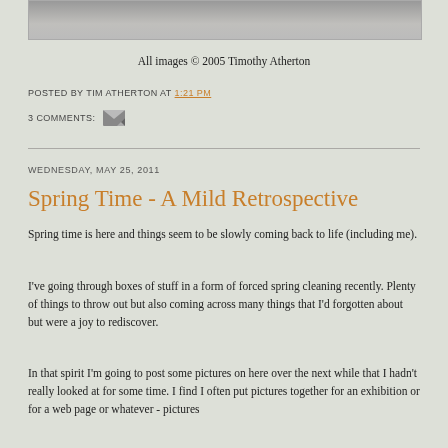[Figure (photo): Top portion of a photograph, showing a grey/muted landscape or image cropped at the top of the page]
All images © 2005 Timothy Atherton
POSTED BY TIM ATHERTON AT 1:21 PM
3 COMMENTS:
WEDNESDAY, MAY 25, 2011
Spring Time - A Mild Retrospective
Spring time is here and things seem to be slowly coming back to life (including me).
I've going through boxes of stuff in a form of forced spring cleaning recently. Plenty of things to throw out but also coming across many things that I'd forgotten about but were a joy to rediscover.
In that spirit I'm going to post some pictures on here over the next while that I hadn't really looked at for some time. I find I often put pictures together for an exhibition or for a web page or whatever - pictures